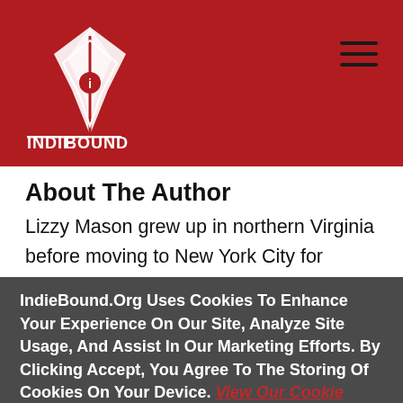IndieBound header with logo and hamburger menu
About The Author
Lizzy Mason grew up in northern Virginia before moving to New York City for college and a career in publishing. Now back in Virginia with her two cats, when not reading or writing, Lizzy loves to travel. She has visited forty-four states and eleven countries so
IndieBound.Org Uses Cookies To Enhance Your Experience On Our Site, Analyze Site Usage, And Assist In Our Marketing Efforts. By Clicking Accept, You Agree To The Storing Of Cookies On Your Device. View Our Cookie Policy.
Give me more info
Accept all Cookies